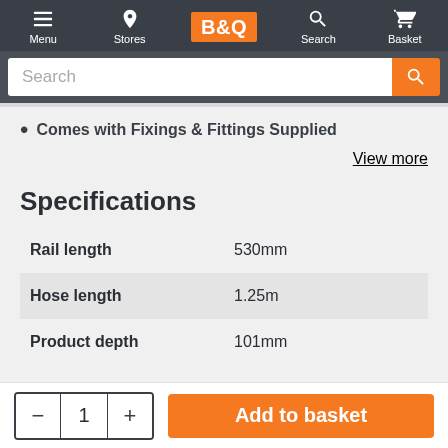Menu | Stores | B&Q | Search | Basket
Comes with Fixings & Fittings Supplied
View more
Specifications
| Specification | Value |
| --- | --- |
| Rail length | 530mm |
| Hose length | 1.25m |
| Product depth | 101mm |
1  Add to basket